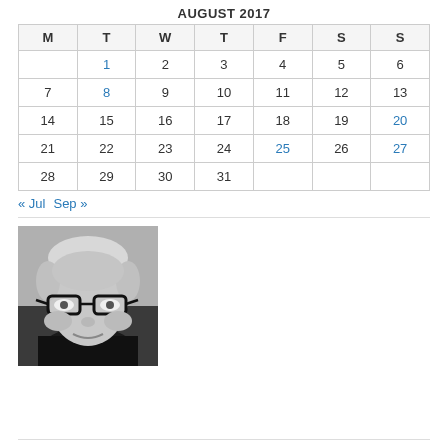AUGUST 2017
| M | T | W | T | F | S | S |
| --- | --- | --- | --- | --- | --- | --- |
|  | 1 | 2 | 3 | 4 | 5 | 6 |
| 7 | 8 | 9 | 10 | 11 | 12 | 13 |
| 14 | 15 | 16 | 17 | 18 | 19 | 20 |
| 21 | 22 | 23 | 24 | 25 | 26 | 27 |
| 28 | 29 | 30 | 31 |  |  |  |
« Jul   Sep »
[Figure (photo): Black and white portrait photo of a middle-aged person with short light hair and glasses, looking forward with a slight smile.]